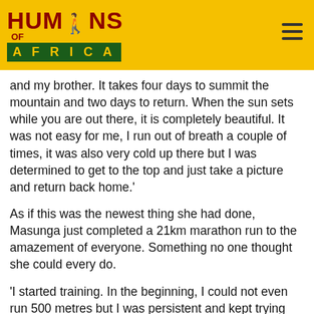HUMANS OF AFRICA
and my brother. It takes four days to summit the mountain and two days to return. When the sun sets while you are out there, it is completely beautiful. It was not easy for me, I run out of breath a couple of times, it was also very cold up there but I was determined to get to the top and just take a picture and return back home.'
As if this was the newest thing she had done, Masunga just completed a 21km marathon run to the amazement of everyone. Something no one thought she could every do.
'I started training. In the beginning, I could not even run 500 metres but I was persistent and kept trying and before long I was running a kilometre and I just kept building. When I was ready, I registered for the